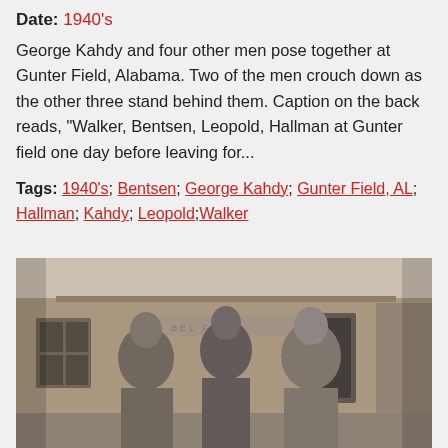Date: 1940's
George Kahdy and four other men pose together at Gunter Field, Alabama. Two of the men crouch down as the other three stand behind them. Caption on the back reads, "Walker, Bentsen, Leopold, Hallman at Gunter field one day before leaving for...
Tags: 1940's; Bentsen; George Kahdy; Gunter Field, AL; Hallman; Kahdy; Leopold; Walker
[Figure (photo): Black and white / sepia photograph of men posing together at Gunter Field, Alabama in the 1940s. Three men are visible standing in front of a building.]